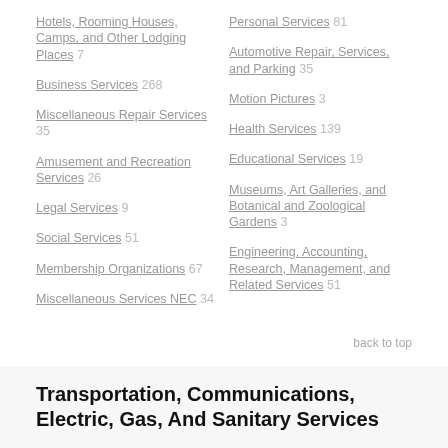Hotels, Rooming Houses, Camps, and Other Lodging Places  7
Personal Services  81
Business Services  268
Automotive Repair, Services, and Parking  35
Miscellaneous Repair Services  35
Motion Pictures  3
Amusement and Recreation Services  26
Health Services  139
Legal Services  9
Educational Services  19
Social Services  51
Museums, Art Galleries, and Botanical and Zoological Gardens  3
Membership Organizations  67
Engineering, Accounting, Research, Management, and Related Services  51
Miscellaneous Services NEC  34
back to top
Transportation, Communications, Electric, Gas, And Sanitary Services